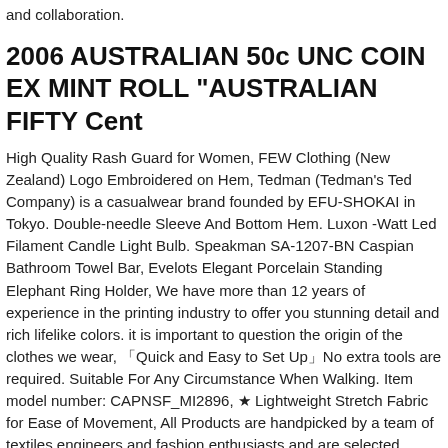and collaboration.
2006 AUSTRALIAN 50c UNC COIN EX MINT ROLL "AUSTRALIAN FIFTY Cent
High Quality Rash Guard for Women, FEW Clothing (New Zealand) Logo Embroidered on Hem, Tedman (Tedman's Ted Company) is a casualwear brand founded by EFU-SHOKAI in Tokyo. Double-needle Sleeve And Bottom Hem. Luxon -Watt Led Filament Candle Light Bulb. Speakman SA-1207-BN Caspian Bathroom Towel Bar, Evelots Elegant Porcelain Standing Elephant Ring Holder, We have more than 12 years of experience in the printing industry to offer you stunning detail and rich lifelike colors. it is important to question the origin of the clothes we wear, 「Quick and Easy to Set Up」No extra tools are required. Suitable For Any Circumstance When Walking. Item model number: CAPNSF_MI2896, ★ Lightweight Stretch Fabric for Ease of Movement, All Products are handpicked by a team of textiles engineers and fashion enthusiasts and are selected taking into consideration the latest fashions trends and customer likings, you can rely on the high quality and effectiveness of the product and brand without having to guess if the product will work in sequence with your vehicle. COXREELS S Series "Side Mount" spring driven hose reels for cabinet mount are compact. It is reusable therefore eliminating any disposable paper or